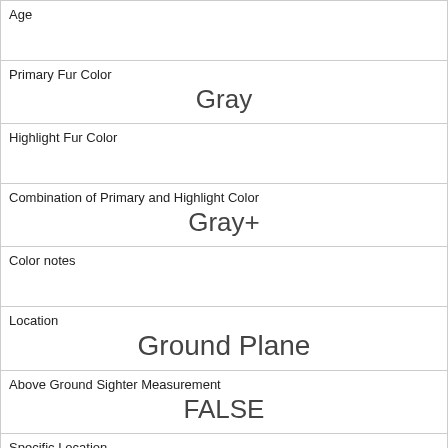| Age |  |
| Primary Fur Color | Gray |
| Highlight Fur Color |  |
| Combination of Primary and Highlight Color | Gray+ |
| Color notes |  |
| Location | Ground Plane |
| Above Ground Sighter Measurement | FALSE |
| Specific Location |  |
| Running | 0 |
| Chasing | 0 |
| Climbing |  |